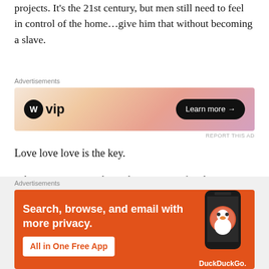projects. It's the 21st century, but men still need to feel in control of the home...give him that without becoming a slave.
[Figure (other): WordPress VIP advertisement banner with gradient orange/pink background, WordPress logo, 'vip' text, and 'Learn more →' button]
Love love love is the key.
What more can I wish you but pure unrefined concentrated saturated happiness....so much of it that it overflows from your heart onto your kids and family and friends. Girls night out? Gone....replaced with cosy evenings with your
[Figure (other): DuckDuckGo advertisement on orange background: 'Search, browse, and email with more privacy. All in One Free App' with phone image and DuckDuckGo logo]